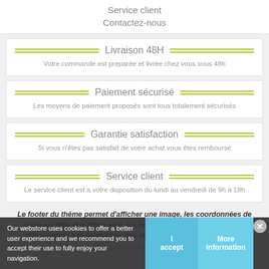Service client
Contactez-nous
Livraison 48H
Votre commande est preparée et livrée chez vous sous 48h
Paiement sécurisé
Les moyens de paiement proposés sont tous totalement sécurisés
Garantie satisfaction
Si vous n'êtes pas satisfait de votre achat vous êtes remboursé
Service client
Le service client est a votre disposition du lundi au vendredi de 9h à 18h
Le footer du thème permet d'afficher une image, les coordonnées de votre société, des blocs avec les liens de votre choix, un espace d'inscription a la newsletter, des réseaux sociaux, des blocs de type d'informations (images
Our webstore uses cookies to offer a better user experience and we recommend you to accept their use to fully enjoy your navigation.